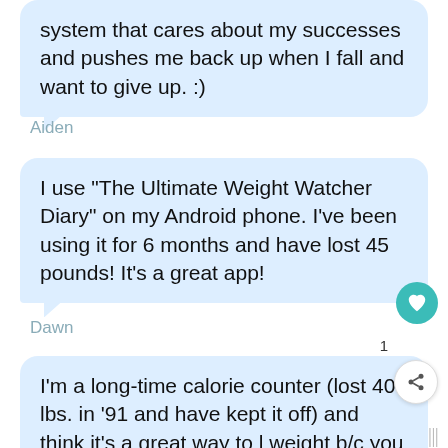system that cares about my successes and pushes me back up when I fall and want to give up. :)
Aiden
I use "The Ultimate Weight Watcher Diary" on my Android phone. I've been using it for 6 months and have lost 45 pounds! It's a great app!
Dawn
I'm a long-time calorie counter (lost 40 lbs. in '91 and have kept it off) and think it's a great way to l weight b/c you can eat real food (and budget for splurges when you "need" to). WW is great this...